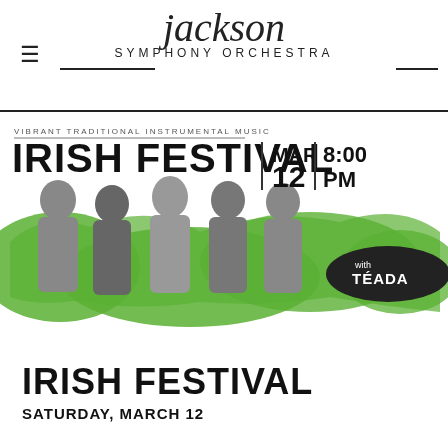[Figure (logo): Jackson Symphony Orchestra logo with script 'jackson' above 'SYMPHONY ORCHESTRA' in caps, with horizontal lines flanking the text, and hamburger menu icon on the left]
[Figure (infographic): Irish Festival event banner. Text: 'VIBRANT TRADITIONAL INSTRUMENTAL MUSIC', 'IRISH FESTIVAL', 'MAR 12', '8:00 PM', 'with TÉADA'. Black and white photo of five men standing together with green paint splash background.]
IRISH FESTIVAL
SATURDAY, MARCH 12